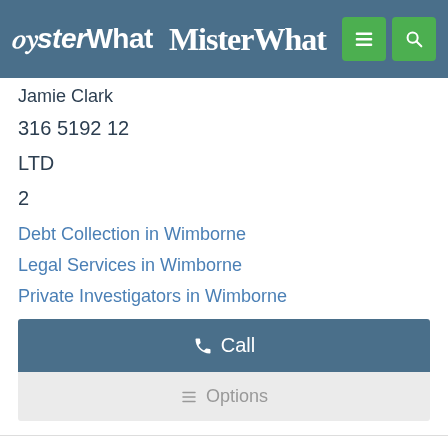MisterWhat
Jamie Clark
316 5192 12
LTD
2
Debt Collection in Wimborne
Legal Services in Wimborne
Private Investigators in Wimborne
Call
Options
Opening times
Closed now